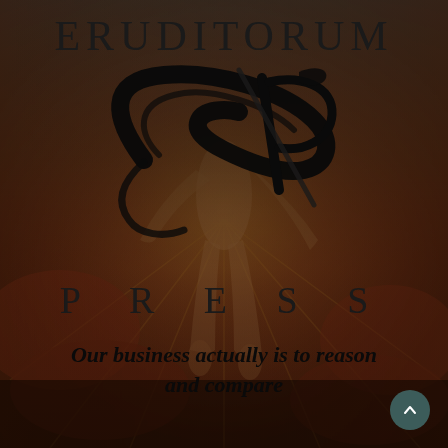[Figure (illustration): Background image of a classical painting (William Blake style) showing a figure reaching downward, rendered in dark reddish-brown and golden tones, overlaid with a semi-transparent dark teal/grey gradient at the top]
ERUDITORUM
[Figure (logo): Eruditorum Press logo: stylized cursive 'EP' letters in black, overlapping in an elegant calligraphic design]
P R E S S
Our business actually is to reason and compare